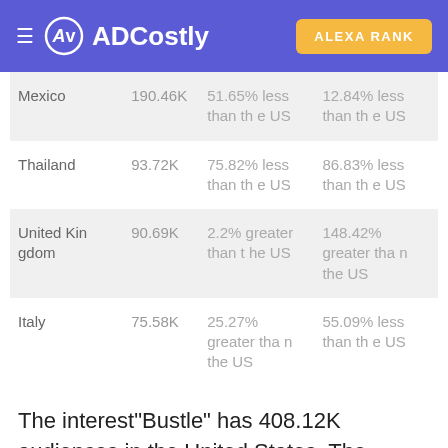ADCostly | ALEXA RANK
| Country | Audience | CPC comparison | CPM comparison |
| --- | --- | --- | --- |
| Mexico | 190.46K | 51.65% less than the US | 12.84% less than the US |
| Thailand | 93.72K | 75.82% less than the US | 86.83% less than the US |
| United Kingdom | 90.69K | 2.2% greater than the US | 148.42% greater than the US |
| Italy | 75.58K | 25.27% greater than the US | 55.09% less than the US |
The interest"Bustle" has 408.12K audiences in the United States. The average CPC is $0.91, and the average CPM is $17.99. Except the United